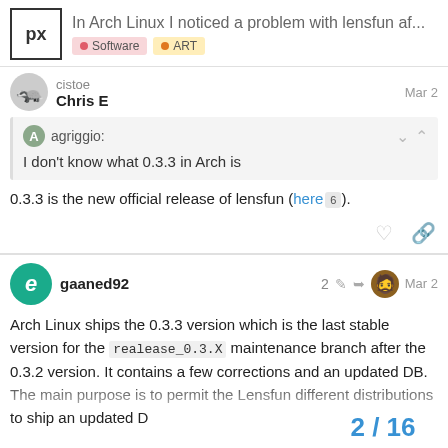In Arch Linux I noticed a problem with lensfun af... Software ART
Chris E  Mar 2
agriggio: I don't know what 0.3.3 in Arch is
0.3.3 is the new official release of lensfun (here 6).
gaaned92  2  Mar 2
Arch Linux ships the 0.3.3 version which is the last stable version for the realease_0.3.X maintenance branch after the 0.3.2 version. It contains a few corrections and an updated DB. The main purpose is to permit the Lensfun different distributions to ship an updated D
2 / 16